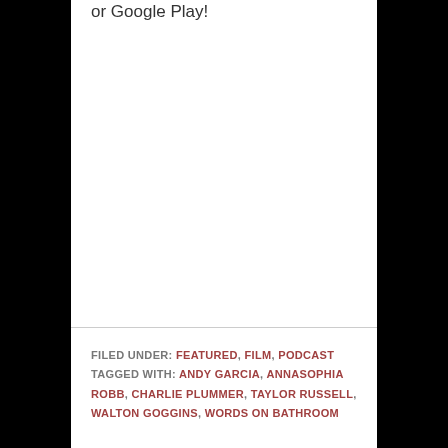or Google Play!
FILED UNDER: FEATURED, FILM, PODCAST
TAGGED WITH: ANDY GARCIA, ANNASOPHIA ROBB, CHARLIE PLUMMER, TAYLOR RUSSELL, WALTON GOGGINS, WORDS ON BATHROOM